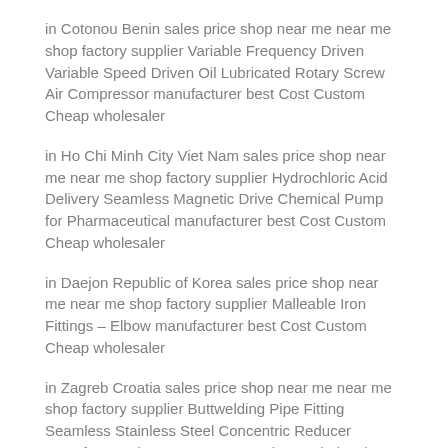in Cotonou Benin sales price shop near me near me shop factory supplier Variable Frequency Driven Variable Speed Driven Oil Lubricated Rotary Screw Air Compressor manufacturer best Cost Custom Cheap wholesaler
in Ho Chi Minh City Viet Nam sales price shop near me near me shop factory supplier Hydrochloric Acid Delivery Seamless Magnetic Drive Chemical Pump for Pharmaceutical manufacturer best Cost Custom Cheap wholesaler
in Daejon Republic of Korea sales price shop near me near me shop factory supplier Malleable Iron Fittings – Elbow manufacturer best Cost Custom Cheap wholesaler
in Zagreb Croatia sales price shop near me near me shop factory supplier Buttwelding Pipe Fitting Seamless Stainless Steel Concentric Reducer manufacturer best Cost Custom Cheap wholesaler